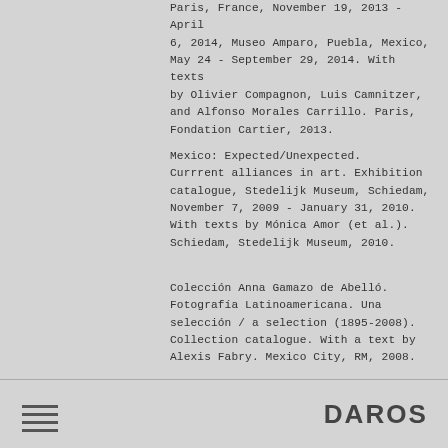Paris, France, November 19, 2013 – April 6, 2014, Museo Amparo, Puebla, Mexico, May 24 – September 29, 2014. With texts by Olivier Compagnon, Luis Camnitzer, and Alfonso Morales Carrillo. Paris, Fondation Cartier, 2013.
Mexico: Expected/Unexpected. Currrent alliances in art. Exhibition catalogue, Stedelijk Museum, Schiedam, November 7, 2009 - January 31, 2010. With texts by Mónica Amor (et al.). Schiedam, Stedelijk Museum, 2010.
Colección Anna Gamazo de Abelló. Fotografía Latinoamericana. Una selección / a selection (1895-2008). Collection catalogue. With a text by Alexis Fabry. Mexico City, RM, 2008.
...
DAROS